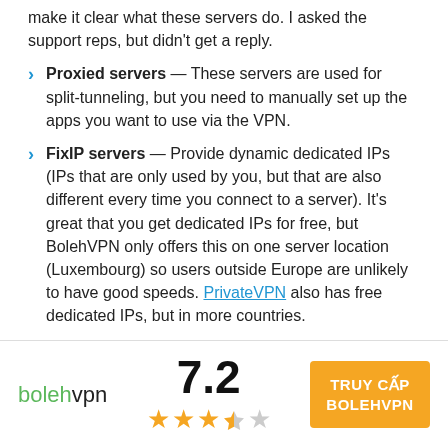make it clear what these servers do. I asked the support reps, but didn't get a reply.
Proxied servers — These servers are used for split-tunneling, but you need to manually set up the apps you want to use via the VPN.
FixIP servers — Provide dynamic dedicated IPs (IPs that are only used by you, but that are also different every time you connect to a server). It's great that you get dedicated IPs for free, but BolehVPN only offers this on one server location (Luxembourg) so users outside Europe are unlikely to have good speeds. PrivateVPN also has free dedicated IPs, but in more countries.
[Figure (other): BolehVPN rating footer with logo, score 7.2, star rating (3.5 out of 5), and orange CTA button reading TRUY CAP BOLEHVPN]